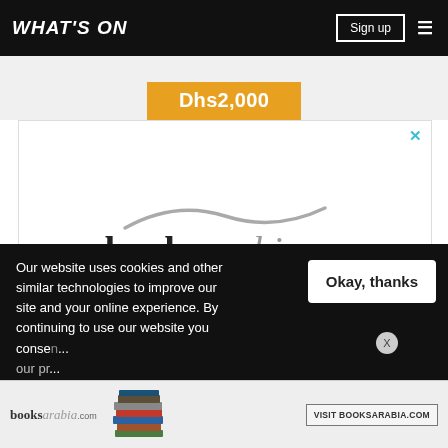WHAT'S ON | Sign up
Dhs2,000
[Figure (logo): BooksArabia.com advertisement banner with stylized logo featuring a wave/swoosh above the text]
Our website uses cookies and other similar technologies to improve our site and your online experience. By continuing to use our website you consent ... our pr...
[Figure (screenshot): Okay, thanks button and bottom booksarabia.com advertisement strip with book stack image and VISIT BOOKSARABIA.COM button]